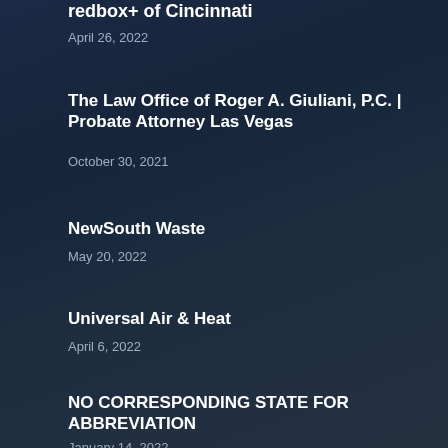redbox+ of Cincinnati
April 26, 2022
The Law Office of Roger A. Giuliani, P.C. | Probate Attorney Las Vegas
October 30, 2021
NewSouth Waste
May 20, 2022
Universal Air & Heat
April 6, 2022
NO CORRESPONDING STATE FOR ABBREVIATION
January 14, 2022